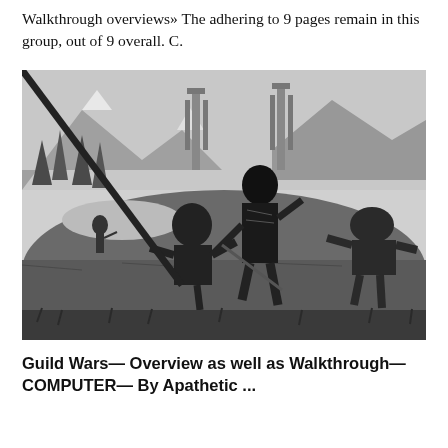Walkthrough overviews» The adhering to 9 pages remain in this group, out of 9 overall. C.
[Figure (photo): Black and white screenshot from Guild Wars video game showing armored fantasy characters in combat in a mountainous landscape with towers in the background.]
Guild Wars— Overview as well as Walkthrough— COMPUTER— By Apathetic ...